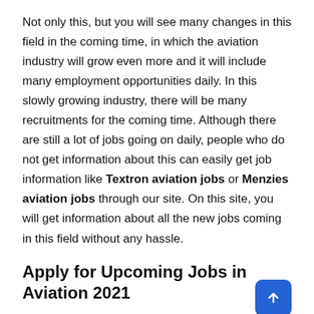Not only this, but you will see many changes in this field in the coming time, in which the aviation industry will grow even more and it will include many employment opportunities daily. In this slowly growing industry, there will be many recruitments for the coming time. Although there are still a lot of jobs going on daily, people who do not get information about this can easily get job information like Textron aviation jobs or Menzies aviation jobs through our site. On this site, you will get information about all the new jobs coming in this field without any hassle.
Apply for Upcoming Jobs in Aviation 2021
To get a good government job, you must have a degree